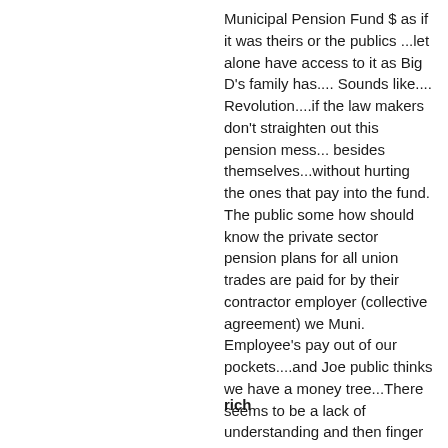Municipal Pension Fund $ as if it was theirs or the publics ...let alone have access to it as Big D's family has.... Sounds like.... Revolution....if the law makers don't straighten out this pension mess... besides themselves...without hurting the ones that pay into the fund. The public some how should know the private sector pension plans for all union trades are paid for by their contractor employer (collective agreement) we Muni. Employee's pay out of our pockets....and Joe public thinks we have a money tree...There seems to be a lack of understanding and then finger pointing... Wonder how many pension's our politians are getting and does anyone play with their pension $ .... Just wondering?
rich